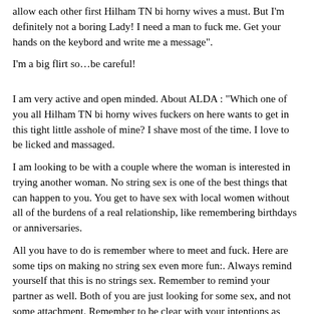allow each other first Hilham TN bi horny wives a must. But I'm definitely not a boring Lady! I need a man to fuck me. Get your hands on the keybord and write me a message".
I'm a big flirt so…be careful!
I am very active and open minded. About ALDA : "Which one of you all Hilham TN bi horny wives fuckers on here wants to get in this tight little asshole of mine? I shave most of the time. I love to be licked and massaged.
I am looking to be with a couple where the woman is interested in trying another woman. No string sex is one of the best things that can happen to you. You get to have sex with local women without all of the burdens of a real relationship, like remembering birthdays or anniversaries.
All you have to do is remember where to meet and fuck. Here are some tips on making no string sex even more fun:. Always remind yourself that this is no strings sex. Remember to remind your partner as well. Both of you are just looking for some sex, and not some attachment. Remember to be clear with your intentions as well.